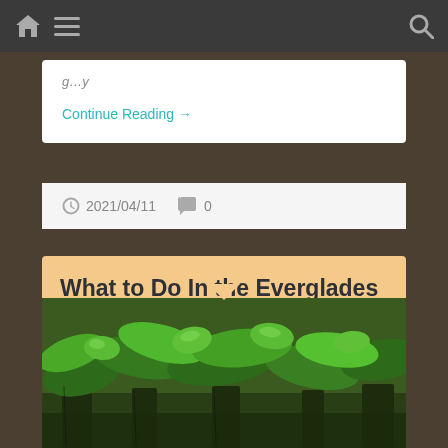Navigation bar with home, menu, and search icons
Continue Reading →
2021/04/11   0
What to Do In the Everglades National Park: Airboats Tours & Top Activities
[Figure (photo): Green tropical plants and leaves in the Everglades wetlands environment]